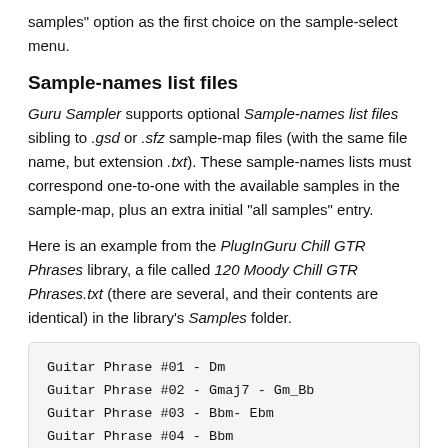samples" option as the first choice on the sample-select menu.
Sample-names list files
Guru Sampler supports optional Sample-names list files sibling to .gsd or .sfz sample-map files (with the same file name, but extension .txt). These sample-names lists must correspond one-to-one with the available samples in the sample-map, plus an extra initial “all samples” entry.
Here is an example from the PlugInGuru Chill GTR Phrases library, a file called 120 Moody Chill GTR Phrases.txt (there are several, and their contents are identical) in the library's Samples folder.
Guitar Phrase #01 - Dm
Guitar Phrase #02 - Gmaj7 - Gm_Bb
Guitar Phrase #03 - Bbm- Ebm
Guitar Phrase #04 - Bbm